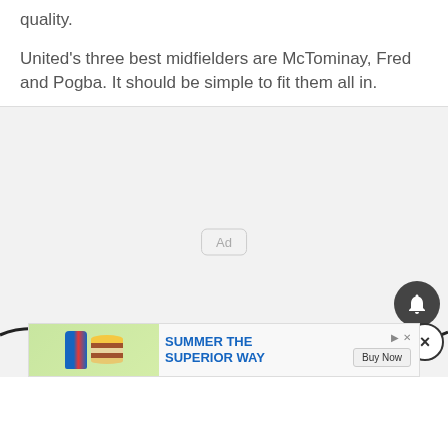quality.
United's three best midfielders are McTominay, Fred and Pogba. It should be simple to fit them all in.
[Figure (other): Advertisement placeholder area with 'Ad' label in center, a notification bell button, a close (X) button, a wavy decorative bar, and a bottom banner ad for 'SUMMER THE SUPERIOR WAY' with a burger image and Buy Now button.]